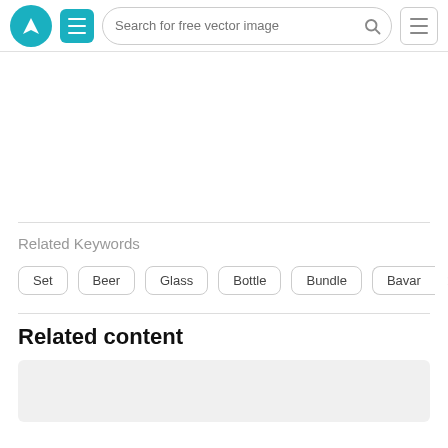[Figure (screenshot): Website header with teal logo circle with V icon, teal menu button, search bar reading 'Search for free vector image', and hamburger menu icon]
Related Keywords
Set
Beer
Glass
Bottle
Bundle
Bavar»
Related content
[Figure (other): Gray rectangular placeholder card for related content image]